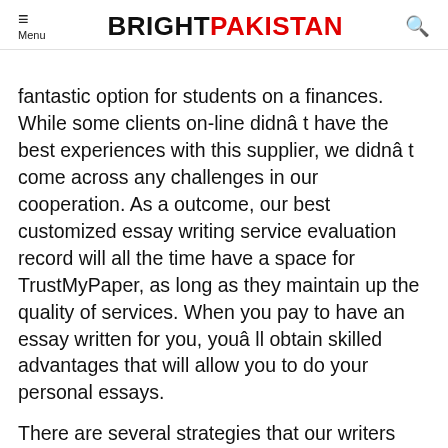Menu | BRIGHTPAKISTAN
fantastic option for students on a finances. While some clients on-line didnât have the best experiences with this supplier, we didnât come across any challenges in our cooperation. As a outcome, our best customized essay writing service evaluation record will all the time have a space for TrustMyPaper, as long as they maintain up the quality of services. When you pay to have an essay written for you, youâll obtain skilled advantages that will allow you to do your personal essays.
There are several strategies that our writers use to ship high-quality content material. When I labored for